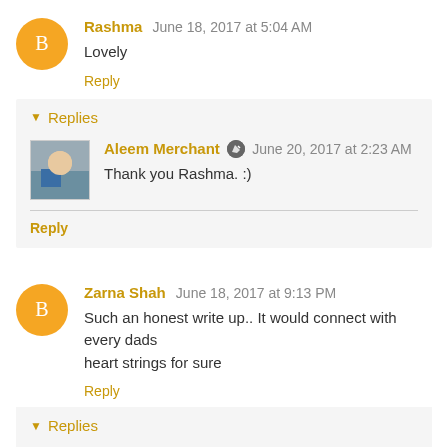Rashma  June 18, 2017 at 5:04 AM
Lovely
Reply
Replies
Aleem Merchant  June 20, 2017 at 2:23 AM
Thank you Rashma. :)
Reply
Zarna Shah  June 18, 2017 at 9:13 PM
Such an honest write up.. It would connect with every dads heart strings for sure
Reply
Replies